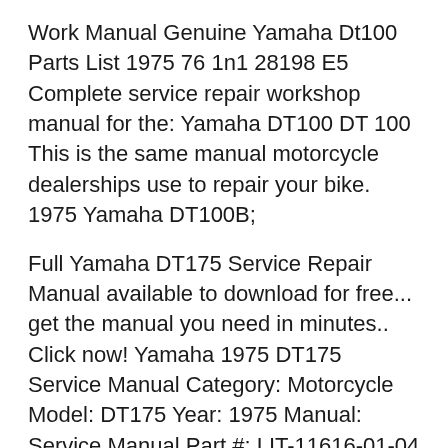Work Manual Genuine Yamaha Dt100 Parts List 1975 76 1n1 28198 E5 Complete service repair workshop manual for the: Yamaha DT100 DT 100 This is the same manual motorcycle dealerships use to repair your bike. 1975 Yamaha DT100B;
Full Yamaha DT175 Service Repair Manual available to download for free... get the manual you need in minutes.. Click now! Yamaha 1975 DT175 Service Manual Category: Motorcycle Model: DT175 Year: 1975 Manual: Service Manual Part #: LIT-11616-01-04 $
switch connection as shown in manual . checking switch for terminal connection checking of bulbs (for headlight. tail 'brake, repair or replace plug. 7-12.. This is a COMPLETE SERVICE REPAIR